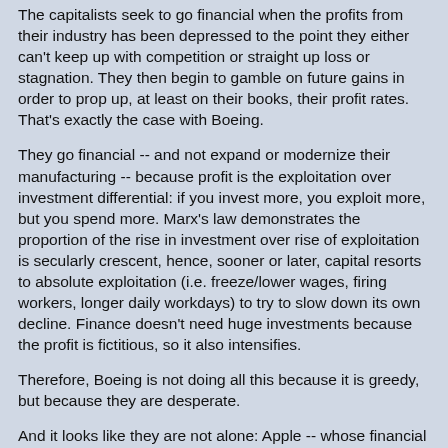The capitalists seek to go financial when the profits from their industry has been depressed to the point they either can't keep up with competition or straight up loss or stagnation. They then begin to gamble on future gains in order to prop up, at least on their books, their profit rates. That's exactly the case with Boeing.
They go financial -- and not expand or modernize their manufacturing -- because profit is the exploitation over investment differential: if you invest more, you exploit more, but you spend more. Marx's law demonstrates the proportion of the rise in investment over rise of exploitation is secularly crescent, hence, sooner or later, capital resorts to absolute exploitation (i.e. freeze/lower wages, firing workers, longer daily workdays) to try to slow down its own decline. Finance doesn't need huge investments because the profit is fictitious, so it also intensifies.
Therefore, Boeing is not doing all this because it is greedy, but because they are desperate.
And it looks like they are not alone: Apple -- whose financial department is already so huge it would be the third largest hedge fund if independent -- has launched a worst version of its smartphone for an exorbitant price (luxury markets also slow down the downfall of profit rate) and is launching its own monetary system (Apple card); Facebook is launching its own...